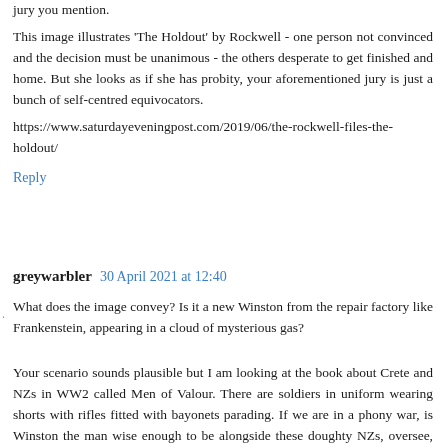jury you mention. This image illustrates 'The Holdout' by Rockwell - one person not convinced and the decision must be unanimous - the others desperate to get finished and home. But she looks as if she has probity, your aforementioned jury is just a bunch of self-centred equivocators. https://www.saturdayeveningpost.com/2019/06/the-rockwell-files-the-holdout/
Reply
greywarbler  30 April 2021 at 12:40
What does the image convey? Is it a new Winston from the repair factory like Frankenstein, appearing in a cloud of mysterious gas?
Your scenario sounds plausible but I am looking at the book about Crete and NZs in WW2 called Men of Valour. There are soldiers in uniform wearing shorts with rifles fitted with bayonets parading. If we are in a phony war, is Winston the man wise enough to be alongside these doughty NZs, oversee, and be influential in operations to prevent the